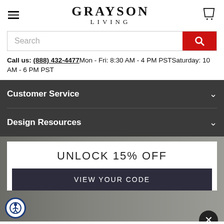GRAYSON LIVING
[Figure (screenshot): Search bar with red search button]
Call us: (888) 432-4477 Mon - Fri: 8:30 AM - 4 PM PST Saturday: 10 AM - 6 PM PST
Customer Service
Design Resources
UNLOCK 15% OFF
VIEW YOUR CODE